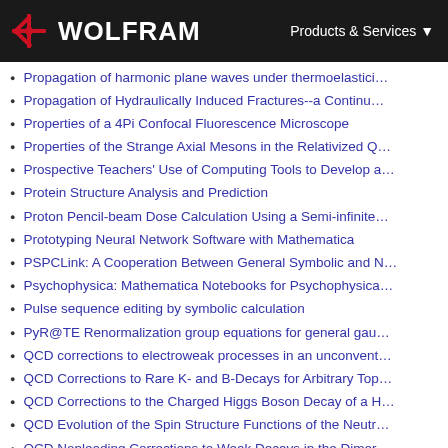WOLFRAM | Products & Services
Propagation of harmonic plane waves under thermoelastici…
Propagation of Hydraulically Induced Fractures--a Continu…
Properties of a 4Pi Confocal Fluorescence Microscope
Properties of the Strange Axial Mesons in the Relativized Q…
Prospective Teachers' Use of Computing Tools to Develop a…
Protein Structure Analysis and Prediction
Proton Pencil-beam Dose Calculation Using a Semi-infinite…
Prototyping Neural Network Software with Mathematica
PSPCLink: A Cooperation Between General Symbolic and N…
Psychophysica: Mathematica Notebooks for Psychophysica…
Pulse sequence editing by symbolic calculation
PyR@TE Renormalization group equations for general gau…
QCD corrections to electroweak processes in an unconvent…
QCD Corrections to Rare K- and B-Decays for Arbitrary Top…
QCD Corrections to the Charged Higgs Boson Decay of a H…
QCD Evolution of the Spin Structure Functions of the Neutr…
QCD Nonleading Corrections to Weak Decays in the Dimer…
QCMPI: A parallel environment for quantum computing